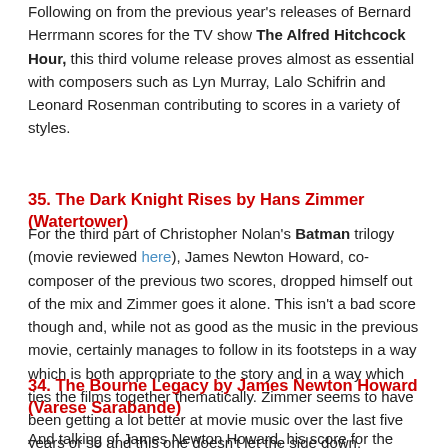Following on from the previous year's releases of Bernard Herrmann scores for the TV show The Alfred Hitchcock Hour, this third volume release proves almost as essential with composers such as Lyn Murray, Lalo Schifrin and Leonard Rosenman contributing to scores in a variety of styles.
35. The Dark Knight Rises by Hans Zimmer (Watertower)
For the third part of Christopher Nolan's Batman trilogy (movie reviewed here), James Newton Howard, co-composer of the previous two scores, dropped himself out of the mix and Zimmer goes it alone. This isn't a bad score though and, while not as good as the music in the previous movie, certainly manages to follow in its footsteps in a way which is both appropriate to the story and in a way which ties the films together thematically. Zimmer seems to have been getting a lot better at movie music over the last five years or so and this one doesn't let the side down.
34. The Bourne Legacy by James Newton Howard (Varese Sarabande)
And talking of James Newton Howard, his score for the new